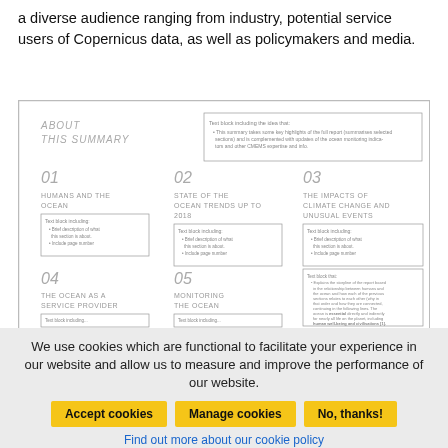a diverse audience ranging from industry, potential service users of Copernicus data, as well as policymakers and media.
[Figure (illustration): Sketch/wireframe layout of a document titled 'About This Summary' showing sections 01 Humans and the Ocean, 02 State of the Ocean Trends up to 2018, 03 The Impacts of Climate Change and Unusual Events, 04 The Ocean as a Service Provider, 05 Monitoring the Ocean, each with placeholder text blocks describing brief section descriptions and page numbers. A large text block on the right explains the summary structure.]
We use cookies which are functional to facilitate your experience in our website and allow us to measure and improve the performance of our website.
Accept cookies | Manage cookies | No, thanks!
Find out more about our cookie policy